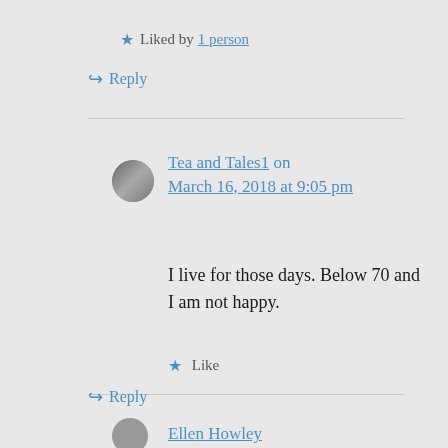★ Liked by 1 person
↪ Reply
Tea and Tales1 on March 16, 2018 at 9:05 pm
I live for those days. Below 70 and I am not happy.
★ Like
↪ Reply
Ellen Howley